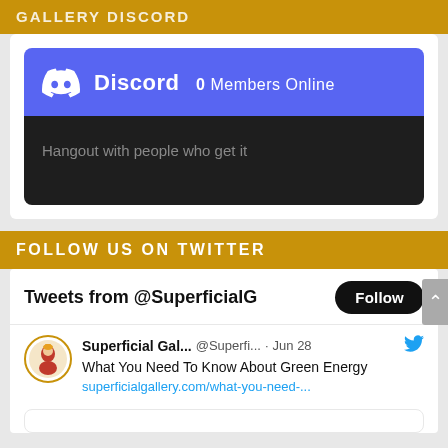GALLERY DISCORD
[Figure (screenshot): Discord widget showing 0 Members Online and tagline 'Hangout with people who get it']
FOLLOW US ON TWITTER
Tweets from @SuperficialG
Superficial Gal... @Superfi... · Jun 28 — What You Need To Know About Green Energy superficialgallery.com/what-you-need-...